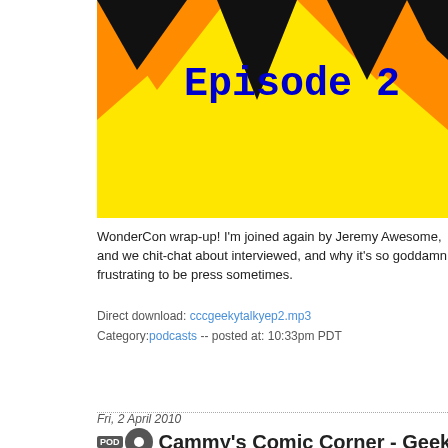[Figure (illustration): Podcast episode artwork for Cammy's Comic Corner Geeky Talky Episode 2 — yellow starburst background with orange and black triangular rays, blue text reading 'Episode 2']
WonderCon wrap-up! I'm joined again by Jeremy Awesome, and we chit-chat about interviewed, and why it's so goddamn frustrating to be press sometimes.
Direct download: cccgeekytalkyep2.mp3
Category:podcasts -- posted at: 10:33pm PDT
Fri, 2 April 2010
Cammy's Comic Corner - Geeky Talky - Ep
[Figure (illustration): Podcast artwork for Cammy's Comic Corner Geeky Talky — yellow starburst with orange and black rays, blue text reading 'Cammy's Comic Corner', 'Geeky' with speaker icon, and 'Talky' with speaker icon]